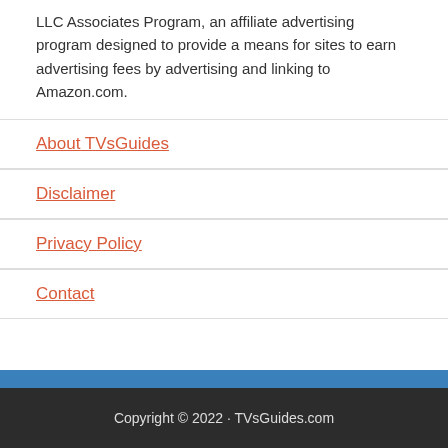LLC Associates Program, an affiliate advertising program designed to provide a means for sites to earn advertising fees by advertising and linking to Amazon.com.
About TVsGuides
Disclaimer
Privacy Policy
Contact
Copyright © 2022 · TVsGuides.com